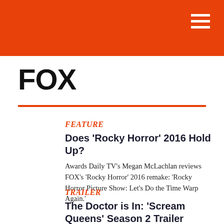FOX
FOX
FEATURE
Does 'Rocky Horror' 2016 Hold Up?
Awards Daily TV's Megan McLachlan reviews FOX's 'Rocky Horror' 2016 remake: 'Rocky Horror Picture Show: Let's Do the Time Warp Again.'
TRAILER
The Doctor is In: 'Scream Queens' Season 2 Trailer Drops